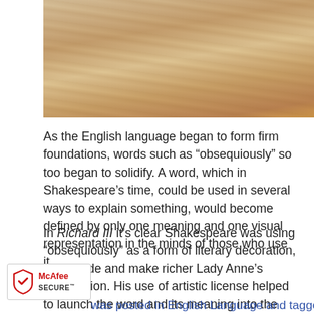[Figure (photo): Close-up photo of a wooden surface with natural wood grain texture, warm brown tones]
As the English language began to form firm foundations, words such as “obsequiously” so too began to solidify. A word, which in Shakespeare’s time, could be used in several ways to explain something, would become defined by only one meaning and one visual representation in the minds of those who use it.
In Richard III it’s clear Shakespeare was using “obsequiously” as a form of literary decoration, to brocade and make richer Lady Anne’s lamentation. His use of artistic license helped to launch the word and its meaning into the widening ocean of the English language.
[Figure (logo): McAfee SECURE badge with red shield logo]
was posted in English Language and tagged